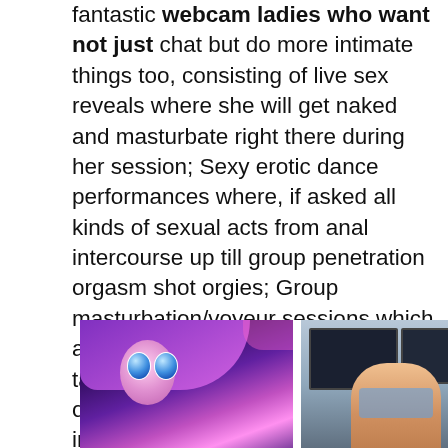fantastic webcam ladies who want not just chat but do more intimate things too, consisting of live sex reveals where she will get naked and masturbate right there during her session; Sexy erotic dance performances where, if asked all kinds of sexual acts from anal intercourse up till group penetration orgasm shot orgies; Group masturbation/voyeur sessions which allow members access into groups talks prior to signing up with onto one member's video feed straight inside his house screen; Role-playing games and much more fantasies.
[Figure (photo): Animated/cartoon style image of an anime character with large blue eyes and purple hair]
[Figure (photo): Photo of a person sitting at a desk with computer monitors]